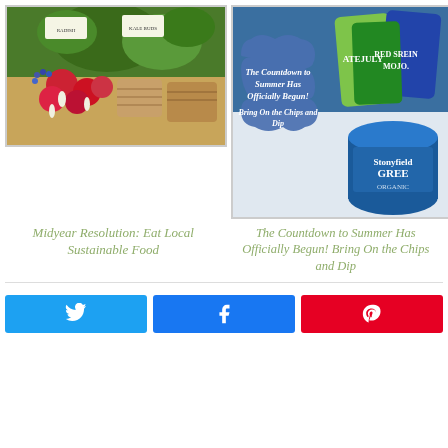[Figure (photo): Farmers market display with radishes, fresh herbs, and greens in baskets]
[Figure (photo): Collage of snack chips bags (Late July brand) and Stonyfield Greek yogurt container with decorative blue badge overlay reading 'The Countdown to Summer Has Officially Begun! Bring On the Chips and Dip']
Midyear Resolution: Eat Local Sustainable Food
The Countdown to Summer Has Officially Begun! Bring On the Chips and Dip